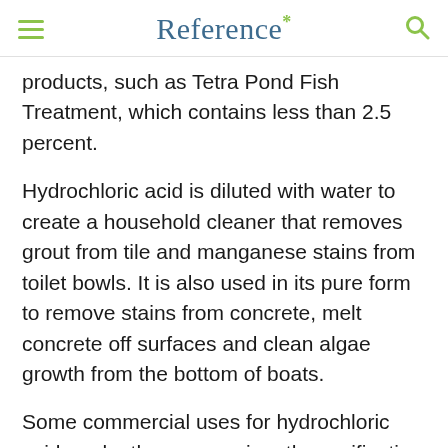Reference*
products, such as Tetra Pond Fish Treatment, which contains less than 2.5 percent.
Hydrochloric acid is diluted with water to create a household cleaner that removes grout from tile and manganese stains from toilet bowls. It is also used in its pure form to remove stains from concrete, melt concrete off surfaces and clean algae growth from the bottom of boats.
Some commercial uses for hydrochloric acid are leather processing, the purification of salt, building construction, gelatin production and as an additive in some foods. The stomach also secretes hydrochloric